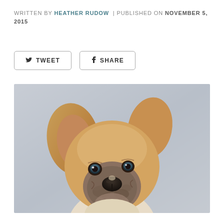WRITTEN BY HEATHER RUDOW | PUBLISHED ON NOVEMBER 5, 2015
TWEET | SHARE (social share buttons)
[Figure (photo): Close-up portrait photograph of a tan/golden puppy with floppy ears, blue-gray eyes, and a mottled gray-brown muzzle, photographed against a light gray background.]